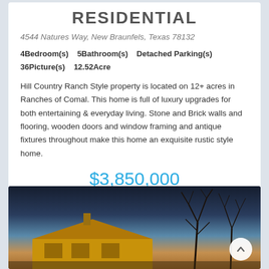RESIDENTIAL
4544 Natures Way, New Braunfels, Texas 78132
4Bedroom(s)   5Bathroom(s)   Detached Parking(s)   36Picture(s)   12.52Acre
Hill Country Ranch Style property is located on 12+ acres in Ranches of Comal. This home is full of luxury upgrades for both entertaining & everyday living. Stone and Brick walls and flooring, wooden doors and window framing and antique fixtures throughout make this home an exquisite rustic style home.
$3,850,000
[Figure (photo): Exterior photo of a Hill Country Ranch Style home at dusk, with bare trees silhouetted against a twilight sky, warm lighting illuminating the house.]